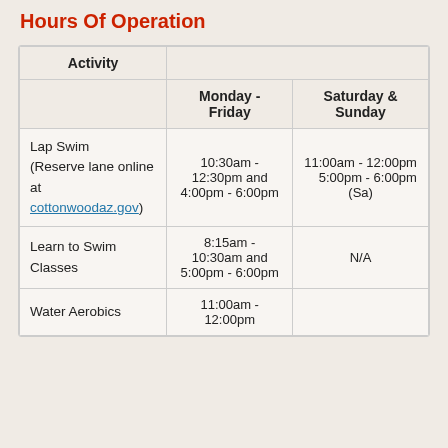Hours Of Operation
| Activity | Monday - Friday | Saturday & Sunday |
| --- | --- | --- |
| Lap Swim
(Reserve lane online at cottonwoodaz.gov) | 10:30am - 12:30pm and 4:00pm - 6:00pm | 11:00am - 12:00pm     5:00pm - 6:00pm (Sa) |
| Learn to Swim Classes | 8:15am - 10:30am and 5:00pm - 6:00pm | N/A |
| Water Aerobics | 11:00am - 12:00pm |  |